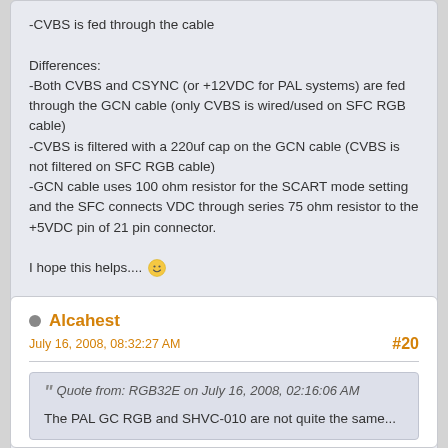-CVBS is fed through the cable
Differences:
-Both CVBS and CSYNC (or +12VDC for PAL systems) are fed through the GCN cable (only CVBS is wired/used on SFC RGB cable)
-CVBS is filtered with a 220uf cap on the GCN cable (CVBS is not filtered on SFC RGB cable)
-GCN cable uses 100 ohm resistor for the SCART mode setting and the SFC connects VDC through series 75 ohm resistor to the +5VDC pin of 21 pin connector.
I hope this helps.... 🙂
Alcahest
July 16, 2008, 08:32:27 AM
#20
Quote from: RGB32E on July 16, 2008, 02:16:06 AM
The PAL GC RGB and SHVC-010 are not quite the same...